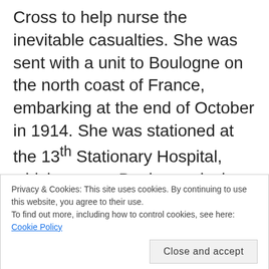Cross to help nurse the inevitable casualties. She was sent with a unit to Boulogne on the north coast of France, embarking at the end of October in 1914. She was stationed at the 13th Stationary Hospital, which was on Boulogne docks, and began work at the beginning of November. This hospital became the main specialist unit for the treatment of eye, face and jaw injuries for the soldiers on the nearby Western Front, but this specialism
Privacy & Cookies: This site uses cookies. By continuing to use this website, you agree to their use.
To find out more, including how to control cookies, see here: Cookie Policy
Close and accept
refugee hospital at Malassises, part of a